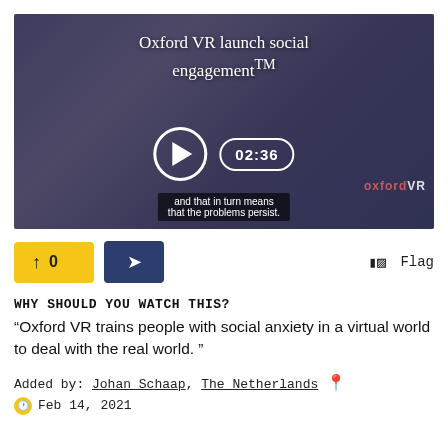[Figure (screenshot): Video thumbnail showing a woman, with title overlay 'Oxford VR launch social engagement™', a play button, duration badge '02:36', subtitle bar 'and that in turn means that the problems persist.']
↑ 0  [share]  Flag
WHY SHOULD YOU WATCH THIS?
“Oxford VR trains people with social anxiety in a virtual world to deal with the real world.”
Added by: Johan Schaap, The Netherlands 📍
🕐 Feb 14, 2021